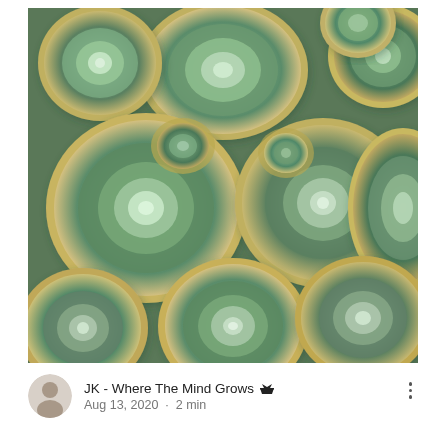[Figure (photo): Close-up photograph of multiple succulent plants (echeveria) viewed from above, showing rosette-shaped leaves in shades of green and cream/yellow, filling the entire frame.]
JK - Where The Mind Grows 👑
Aug 13, 2020 · 2 min